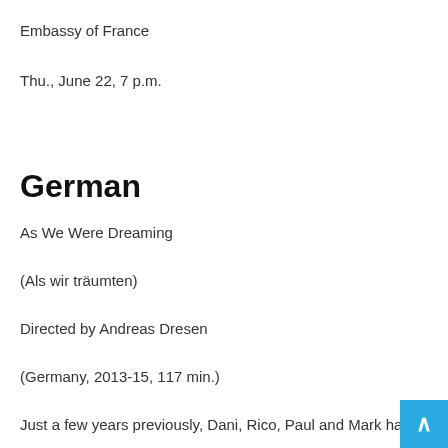Embassy of France
Thu., June 22, 7 p.m.
German
As We Were Dreaming
(Als wir träumten)
Directed by Andreas Dresen
(Germany, 2013-15, 117 min.)
Just a few years previously, Dani, Rico, Paul and Mark ha